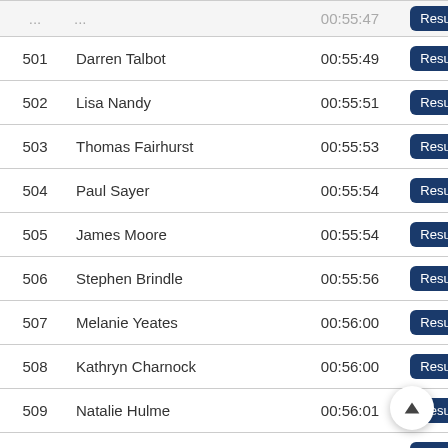| # | Name | Time |  |
| --- | --- | --- | --- |
| 501 | Darren Talbot | 00:55:49 | Results |
| 502 | Lisa Nandy | 00:55:51 | Results |
| 503 | Thomas Fairhurst | 00:55:53 | Results |
| 504 | Paul Sayer | 00:55:54 | Results |
| 505 | James Moore | 00:55:54 | Results |
| 506 | Stephen Brindle | 00:55:56 | Results |
| 507 | Melanie Yeates | 00:56:00 | Results |
| 508 | Kathryn Charnock | 00:56:00 | Results |
| 509 | Natalie Hulme | 00:56:01 | Results |
| 510 | Peter Healy | 00:56:03 | Results |
| 511 | Ryan Lancaster | 00:56:03 | Results |
| 512 | Martin Ashcroft | 00:56:05 | Results |
| 513 | Charlie Robinson | 00:56:06 | Results |